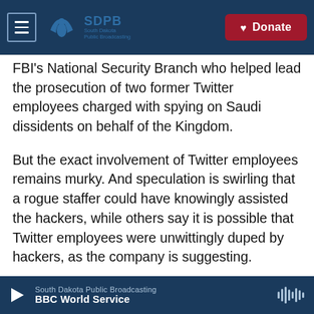SDPB South Dakota Public Broadcasting | Donate
FBI's National Security Branch who helped lead the prosecution of two former Twitter employees charged with spying on Saudi dissidents on behalf of the Kingdom.
But the exact involvement of Twitter employees remains murky. And speculation is swirling that a rogue staffer could have knowingly assisted the hackers, while others say it is possible that Twitter employees were unwittingly duped by hackers, as the company is suggesting.
"Nowadays, people have such a significant digital
South Dakota Public Broadcasting | BBC World Service